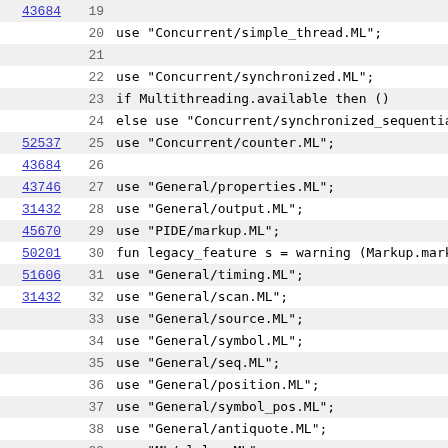| link | line | code |
| --- | --- | --- |
| 43684 | 19 |  |
|  | 20 | use "Concurrent/simple_thread.ML"; |
|  | 21 |  |
|  | 22 | use "Concurrent/synchronized.ML"; |
|  | 23 | if Multithreading.available then () |
|  | 24 | else use "Concurrent/synchronized_sequential |
| 52537 | 25 | use "Concurrent/counter.ML"; |
| 43684 | 26 |  |
| 43746 | 27 | use "General/properties.ML"; |
| 31432 | 28 | use "General/output.ML"; |
| 45670 | 29 | use "PIDE/markup.ML"; |
| 50201 | 30 | fun legacy_feature s = warning (Markup.marku |
| 51606 | 31 | use "General/timing.ML"; |
| 31432 | 32 | use "General/scan.ML"; |
|  | 33 | use "General/source.ML"; |
|  | 34 | use "General/symbol.ML"; |
|  | 35 | use "General/seq.ML"; |
|  | 36 | use "General/position.ML"; |
|  | 37 | use "General/symbol_pos.ML"; |
|  | 38 | use "General/antiquote.ML"; |
|  | 39 | use "ML/ml_lex.ML"; |
|  | 40 | use "ML/ml_parse.ML"; |
|  | 41 | use "General/secure.ML"; |